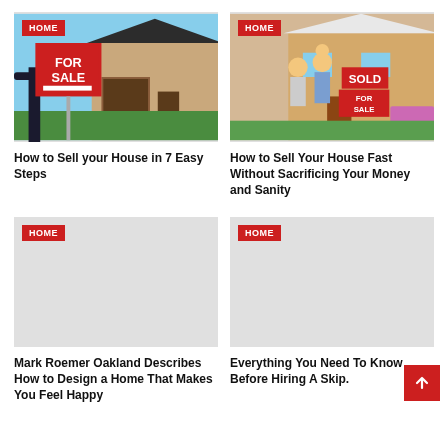[Figure (photo): For Sale sign held by person in front of house]
How to Sell your House in 7 Easy Steps
[Figure (photo): Family celebrating with Sold and For Sale signs in front of house]
How to Sell Your House Fast Without Sacrificing Your Money and Sanity
[Figure (photo): Placeholder image with HOME badge]
Mark Roemer Oakland Describes How to Design a Home That Makes You Feel Happy
[Figure (photo): Placeholder image with HOME badge]
Everything You Need To Know Before Hiring A Skip.